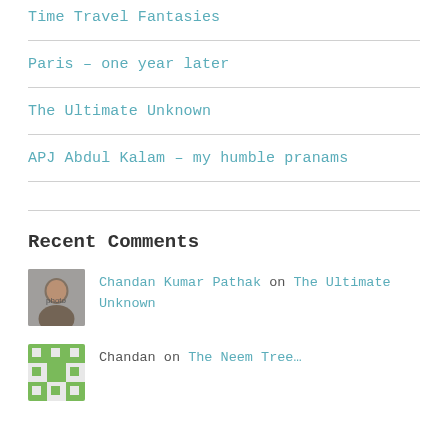Time Travel Fantasies
Paris – one year later
The Ultimate Unknown
APJ Abdul Kalam – my humble pranams
Recent Comments
Chandan Kumar Pathak on The Ultimate Unknown
Chandan on The Neem Tree…